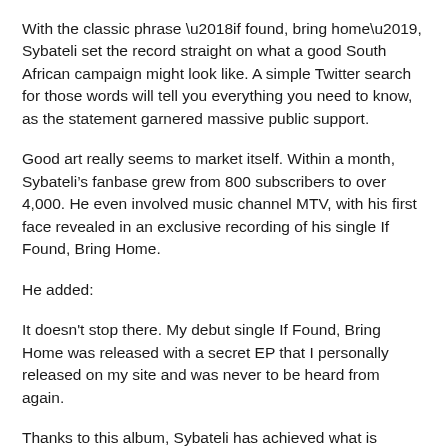With the classic phrase ‘if found, bring home’, Sybateli set the record straight on what a good South African campaign might look like. A simple Twitter search for those words will tell you everything you need to know, as the statement garnered massive public support.
Good art really seems to market itself. Within a month, Sybateli’s fanbase grew from 800 subscribers to over 4,000. He even involved music channel MTV, with his first face revealed in an exclusive recording of his single If Found, Bring Home.
He added:
It doesn't stop there. My debut single If Found, Bring Home was released with a secret EP that I personally released on my site and was never to be heard from again.
Thanks to this album, Sybateli has achieved what is impossible for most, finally signing a recording contract not only for himself, but for his entire label, which he will reveal more about soon.